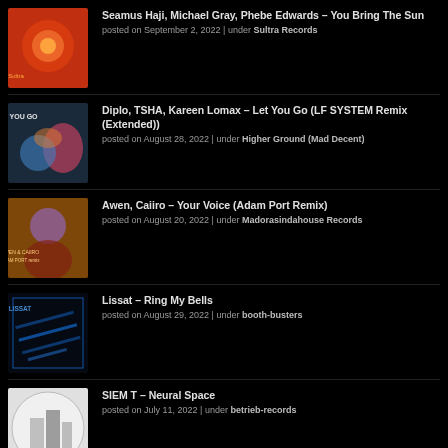Seamus Haji, Michael Gray, Phebe Edwards – You Bring The Sun
posted on September 2, 2022 | under Sultra Records
Diplo, TSHA, Kareen Lomax – Let You Go (LF SYSTEM Remix (Extended))
posted on August 28, 2022 | under Higher Ground (Mad Decent)
Awen, Caiiro – Your Voice (Adam Port Remix)
posted on August 20, 2022 | under Madorasindahouse Records
Lissat – Ring My Bells
posted on August 29, 2022 | under booth-busters
SIEM T – Neural Space
posted on July 11, 2022 | under betrieb-records